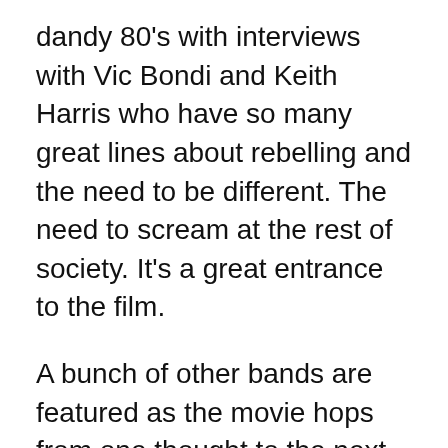dandy 80's with interviews with Vic Bondi and Keith Harris who have so many great lines about rebelling and the need to be different. The need to scream at the rest of society. It's a great entrance to the film.
A bunch of other bands are featured as the movie hops from one thought to the next. Bands that quickly appear and vanish include MDC, DOA, Zero Boys, 7 Seconds, Agnostic Front, and a bunch more. At some points, it feels like they're just cramming people in, as many as they can. And since this film is twenty years late, and there are so many bands worth